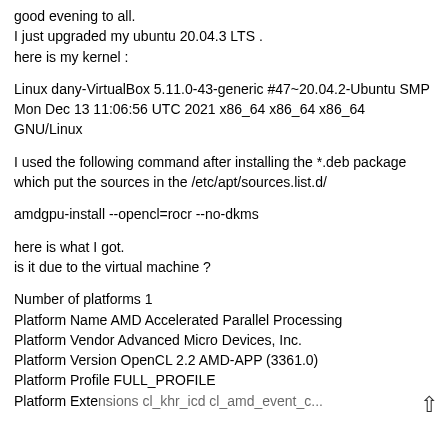good evening to all.
I just upgraded my ubuntu 20.04.3 LTS .
here is my kernel :
Linux dany-VirtualBox 5.11.0-43-generic #47~20.04.2-Ubuntu SMP Mon Dec 13 11:06:56 UTC 2021 x86_64 x86_64 x86_64 GNU/Linux
I used the following command after installing the *.deb package which put the sources in the /etc/apt/sources.list.d/
amdgpu-install --opencl=rocr --no-dkms
here is what I got.
is it due to the virtual machine ?
Number of platforms 1
Platform Name AMD Accelerated Parallel Processing
Platform Vendor Advanced Micro Devices, Inc.
Platform Version OpenCL 2.2 AMD-APP (3361.0)
Platform Profile FULL_PROFILE
Platform Extensions cl_khr_icd cl_amd_event_c...